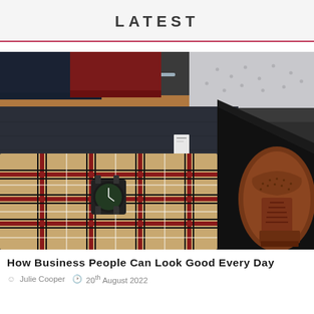LATEST
[Figure (photo): Flat lay of men's clothing and accessories including folded shirts on hangers, plaid scarf, dark trousers, a black wristwatch, and brown leather brogue shoes in a dark box.]
How Business People Can Look Good Every Day
Julie Cooper  20th August 2022